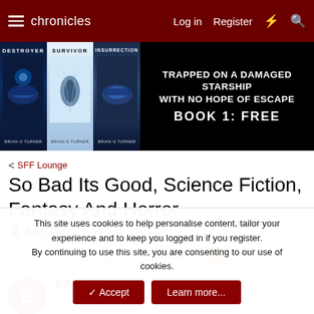chronicles | Log in | Register
[Figure (illustration): Advertisement banner for sci-fi book series by Brian G. Turner: Destroyer, Survivor, Insurrection. Text: TRAPPED ON A DAMAGED STARSHIP WITH NO HOPE OF ESCAPE. BOOK 1: FREE]
< SFF Lounge
So Bad Its Good, Science Fiction, Fantasy And Horror
BAYLOR · Nov 11, 2021
1 of 3   Next ▶   ▶▶
BAYLOR
This site uses cookies to help personalise content, tailor your experience and to keep you logged in if you register.
By continuing to use this site, you are consenting to our use of cookies.
✓ Accept   Learn more...